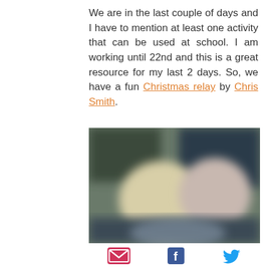We are in the last couple of days and I have to mention at least one activity that can be used at school. I am working until 22nd and this is a great resource for my last 2 days. So, we have a fun Christmas relay by Chris Smith.
[Figure (photo): A blurred indoor photo showing people or objects, with muted greens, grays and warm tones, used as an illustration for the Christmas relay activity.]
[Figure (infographic): Social sharing icons: email (envelope, pink/red), Facebook (f, blue), Twitter (bird, blue)]